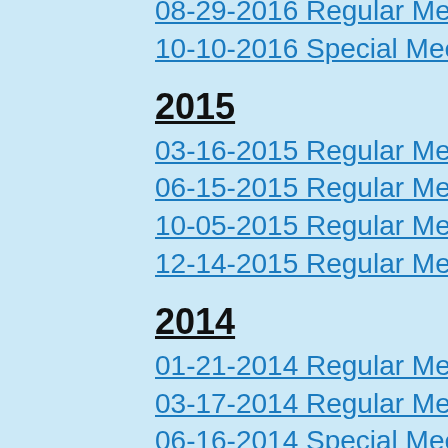08-29-2016 Regular Meeting
10-10-2016 Special Meeting
2015
03-16-2015 Regular Meeting
06-15-2015 Regular Meeting
10-05-2015 Regular Meeting
12-14-2015 Regular Meeting
2014
01-21-2014 Regular Meeting
03-17-2014 Regular Meeting
06-16-2014 Special Meeting
09-15-2014 Regular Meeting
12-15-2014 Regular Meeting
2013
01-10-2013 Regular Meeting
02-28-2013 Special Meeting
03-18-2013 Regular Meeting
06-17-2013 Regular Meeting
09-16-2013 Regular Meeting